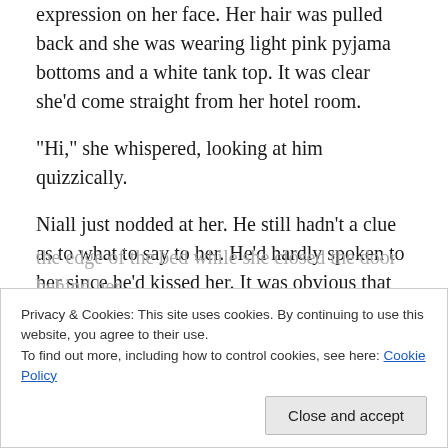expression on her face. Her hair was pulled back and she was wearing light pink pyjama bottoms and a white tank top. It was clear she'd come straight from her hotel room.
“Hi,” she whispered, looking at him quizzically.
Niall just nodded at her. He still hadn’t a clue as to what to say to her. He’d hardly spoken to her since he’d kissed her. It was obvious that she knew how he felt about her, how could she not? But she was with Harry, and over the past few days Niall felt she had made that abundantly clear.
Privacy & Cookies: This site uses cookies. By continuing to use this website, you agree to their use.
To find out more, including how to control cookies, see here: Cookie Policy
the edge of the bed while she closed the door behind her.